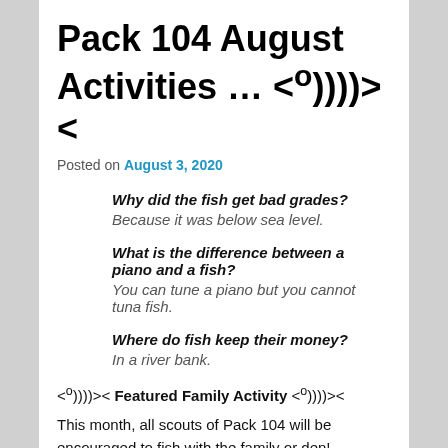Pack 104 August Activities … <°))))><
Posted on August 3, 2020
Why did the fish get bad grades?
Because it was below sea level.
What is the difference between a piano and a fish?
You can tune a piano but you cannot tuna fish.
Where do fish keep their money?
In a river bank.
<°))))>< Featured Family Activity <°))))><
This month, all scouts of Pack 104 will be encouraged to fish with the family or den!